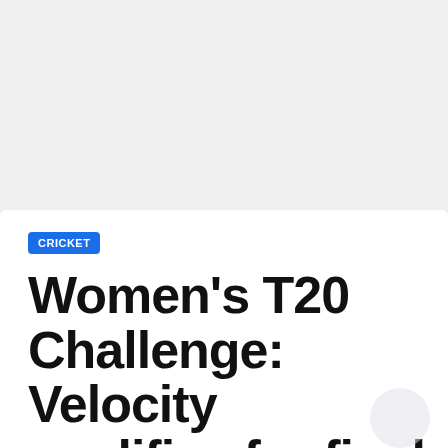[Figure (photo): Top portion of a news article page showing a white/light grey image area above the article card]
CRICKET
Women's T20 Challenge: Velocity qualifies for final as Trailblazers win goes